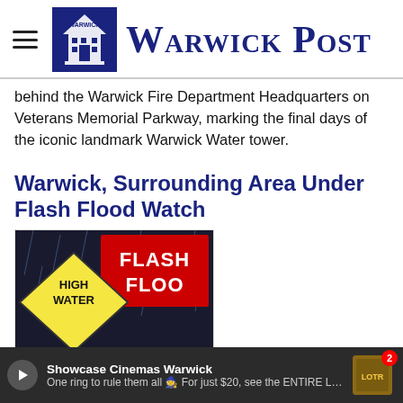Warwick Post
behind the Warwick Fire Department Headquarters on Veterans Memorial Parkway, marking the final days of the iconic landmark Warwick Water tower.
Warwick, Surrounding Area Under Flash Flood Watch
[Figure (photo): Flash flood warning sign showing HIGH WATER WARNING text and FLASH FLOOD text in background with rain]
Showcase Cinemas Warwick — One ring to rule them all 🧙 For just $20, see the ENTIRE Lord of the Ri...